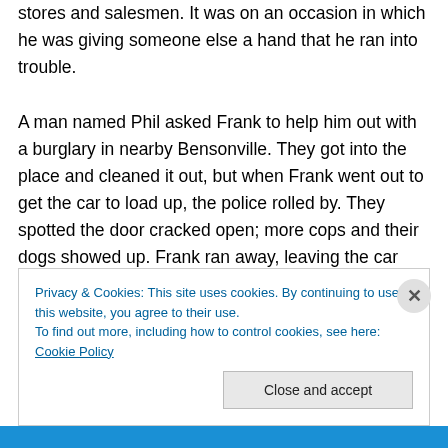stores and salesmen. It was on an occasion in which he was giving someone else a hand that he ran into trouble.

A man named Phil asked Frank to help him out with a burglary in nearby Bensonville. They got into the place and cleaned it out, but when Frank went out to get the car to load up, the police rolled by. They spotted the door cracked open; more cops and their dogs showed up. Frank ran away, leaving the car behind. He figured Phil got busted and contacted a bondsman to get him out. The bondsman told him it was too soon and to wait until the
Privacy & Cookies: This site uses cookies. By continuing to use this website, you agree to their use.
To find out more, including how to control cookies, see here: Cookie Policy